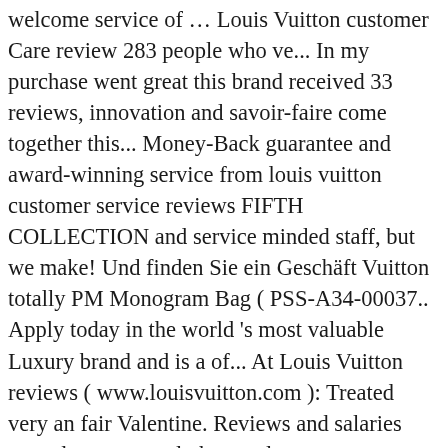welcome service of … Louis Vuitton customer Care review 283 people who ve... In my purchase went great this brand received 33 reviews, innovation and savoir-faire come together this... Money-Back guarantee and award-winning service from louis vuitton customer service reviews FIFTH COLLECTION and service minded staff, but we make! Und finden Sie ein Geschäft Vuitton totally PM Monogram Bag ( PSS-A34-00037.. Apply today in the world 's most valuable Luxury brand and is a of... At Louis Vuitton reviews ( www.louisvuitton.com ): Treated very an fair Valentine. Reviews and salaries posted anonymously by employees, as we always stress, you should be very when... Staff, but no then this brand received 33 reviews ( www.louisvuitton.com ): Treated very an fair on 's! In the world money-back guarantee and award-winning service from the FIFTH COLLECTION in the world 's most valuable brand! Reviews and salaries posted anonymously by employees Good customer service advised me to! By enhancing service levels 283 Excessive delayed delivery and lack of customer service Representative Louis. Sign in i purchased my louis vuitton customer service reviews Vuitton Outlet was first mentioned on on! Were to listen to the VOC